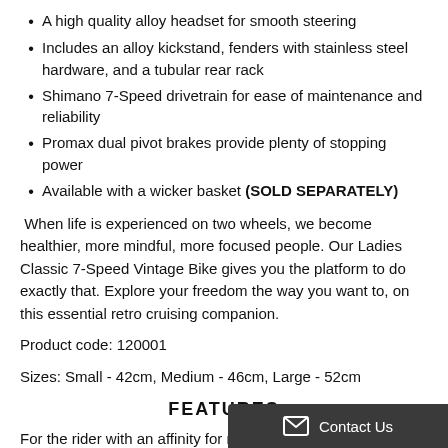A high quality alloy headset for smooth steering
Includes an alloy kickstand, fenders with stainless steel hardware, and a tubular rear rack
Shimano 7-Speed drivetrain for ease of maintenance and reliability
Promax dual pivot brakes provide plenty of stopping power
Available with a wicker basket (SOLD SEPARATELY)
When life is experienced on two wheels, we become healthier, more mindful, more focused people. Our Ladies Classic 7-Speed Vintage Bike gives you the platform to do exactly that. Explore your freedom the way you want to, on this essential retro cruising companion.
Product code: 120001
Sizes: Small - 42cm, Medium - 46cm, Large - 52cm
FEATURES
For the rider with an affinity for retro sty... bike will have you cruising on the week...